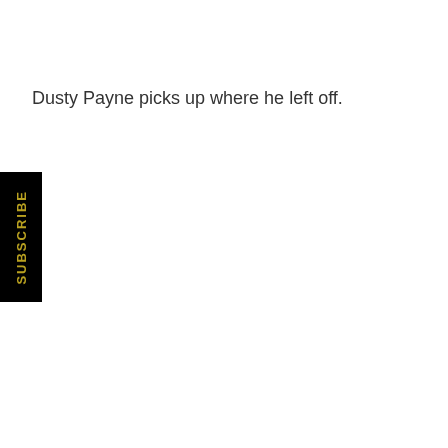Dusty Payne picks up where he left off.
[Figure (other): Black vertical button with gold 'SUBSCRIBE' text rotated 90 degrees]